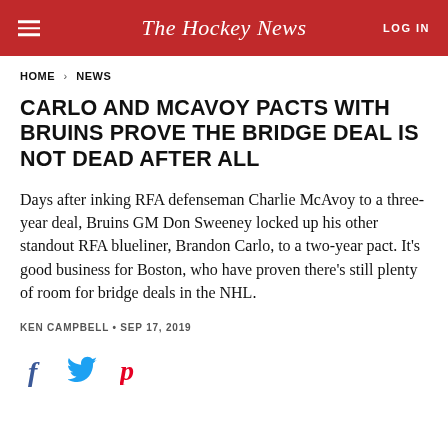The Hockey News | LOG IN
HOME > NEWS
CARLO AND MCAVOY PACTS WITH BRUINS PROVE THE BRIDGE DEAL IS NOT DEAD AFTER ALL
Days after inking RFA defenseman Charlie McAvoy to a three-year deal, Bruins GM Don Sweeney locked up his other standout RFA blueliner, Brandon Carlo, to a two-year pact. It's good business for Boston, who have proven there's still plenty of room for bridge deals in the NHL.
KEN CAMPBELL • SEP 17, 2019
[Figure (other): Social sharing icons: Facebook, Twitter, Pinterest]